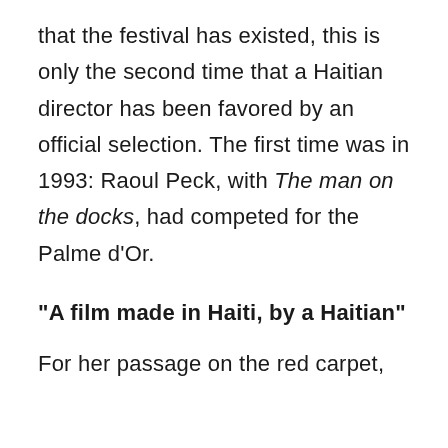that the festival has existed, this is only the second time that a Haitian director has been favored by an official selection. The first time was in 1993: Raoul Peck, with The man on the docks, had competed for the Palme d’Or.
“A film made in Haiti, by a Haitian”
For her passage on the red carpet,